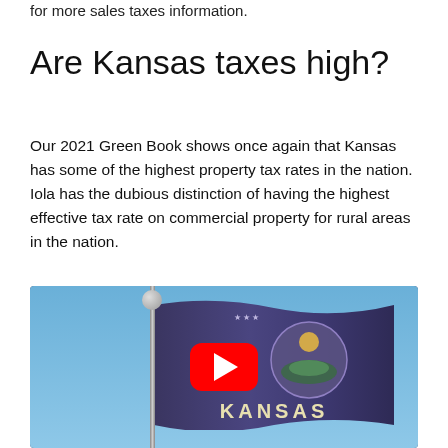for more sales taxes information.
Are Kansas taxes high?
Our 2021 Green Book shows once again that Kansas has some of the highest property tax rates in the nation. Iola has the dubious distinction of having the highest effective tax rate on commercial property for rural areas in the nation.
[Figure (screenshot): YouTube video embed showing a Kansas state flag on a flagpole against a blue sky, with a red YouTube play button overlay and 'KANSAS' text visible on the flag.]